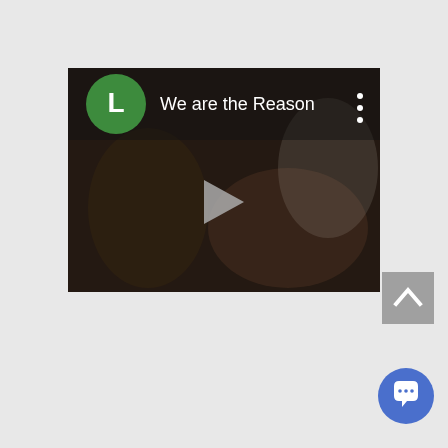[Figure (screenshot): A video player card showing a dark thumbnail with a play button in the center. The card header shows a green circle avatar with the letter L, the title 'We are the Reason', and a three-dot menu icon on the right.]
[Figure (other): A grey scroll-to-top button with an upward chevron arrow icon, positioned in the bottom right area of the page.]
[Figure (other): A blue circular chat/comment button with a speech bubble icon, positioned at the very bottom right of the page.]